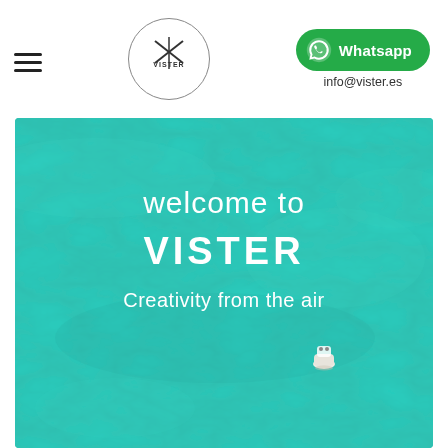[Figure (logo): Vister circular logo with stylized drone/propeller graphic and VISTER text inside a circle]
[Figure (other): Green WhatsApp button with chat bubble icon and 'Whatsapp' text]
info@vister.es
[Figure (photo): Aerial drone photograph of turquoise/teal sea water with a small white boat visible at the bottom right, overlaid with text 'welcome to VISTER' and 'Creativity from the air']
welcome to VISTER
Creativity from the air